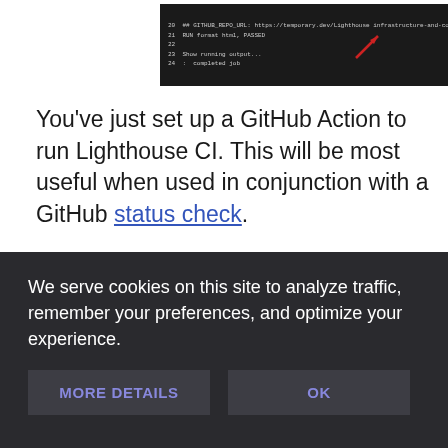[Figure (screenshot): A dark terminal/code editor screenshot showing command line output with a red arrow annotation pointing to text]
You've just set up a GitHub Action to run Lighthouse CI. This will be most useful when used in conjunction with a GitHub status check.
Set up a GitHub status check
We serve cookies on this site to analyze traffic, remember your preferences, and optimize your experience.
MORE DETAILS
OK